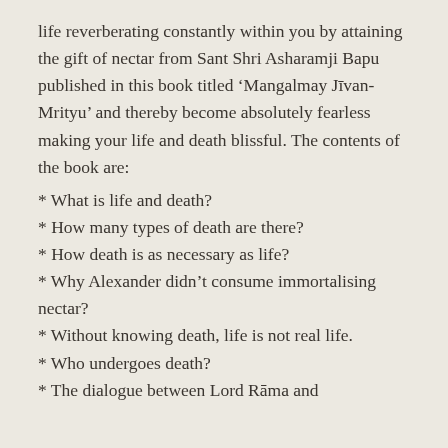life reverberating constantly within you by attaining the gift of nectar from Sant Shri Asharamji Bapu published in this book titled ‘Mangalmay Jīvan-Mrityu’ and thereby become absolutely fearless making your life and death blissful. The contents of the book are:
* What is life and death?
* How many types of death are there?
* How death is as necessary as life?
* Why Alexander didn’t consume immortalising nectar?
* Without knowing death, life is not real life.
* Who undergoes death?
* The dialogue between Lord Rāma and